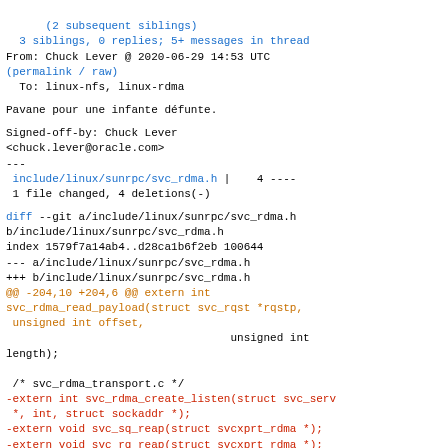(2 subsequent siblings)
  3 siblings, 0 replies; 5+ messages in thread
From: Chuck Lever @ 2020-06-29 14:53 UTC
(permalink / raw)
  To: linux-nfs, linux-rdma
Pavane pour une infante défunte.
Signed-off-by: Chuck Lever
<chuck.lever@oracle.com>
---
 include/linux/sunrpc/svc_rdma.h |    4 ----
 1 file changed, 4 deletions(-)
diff --git a/include/linux/sunrpc/svc_rdma.h b/include/linux/sunrpc/svc_rdma.h
index 1579f7a14ab4..d28ca1b6f2eb 100644
--- a/include/linux/sunrpc/svc_rdma.h
+++ b/include/linux/sunrpc/svc_rdma.h
@@ -204,10 +204,6 @@ extern int svc_rdma_read_payload(struct svc_rqst *rqstp,
                unsigned int offset,
                                          unsigned int
 length);

  /* svc_rdma_transport.c */
-extern int svc_rdma_create_listen(struct svc_serv
 *, int, struct sockaddr *);
-extern void svc_sq_reap(struct svcxprt_rdma *);
-extern void svc_rq_reap(struct svcxprt_rdma *);